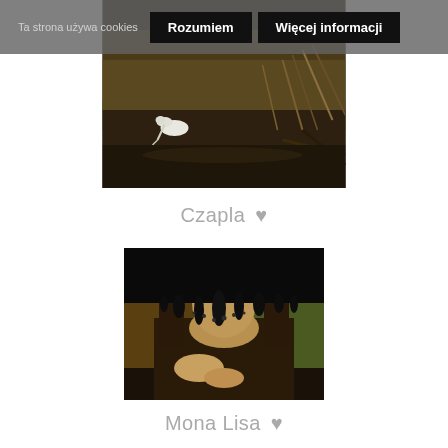[Figure (photo): Partial painting of a heron (Czapla) - a bird in a marshland scene with grasses, dark earthy tones, partially obscured by cookie banner]
Ta strona używa cookies  Rozumiem  Więcej informacji
Czapla ♥
[Figure (photo): Modified Mona Lisa painting with black dripping paint obscuring the face and upper portion, dark and damaged appearance]
Mona Lisa ♥